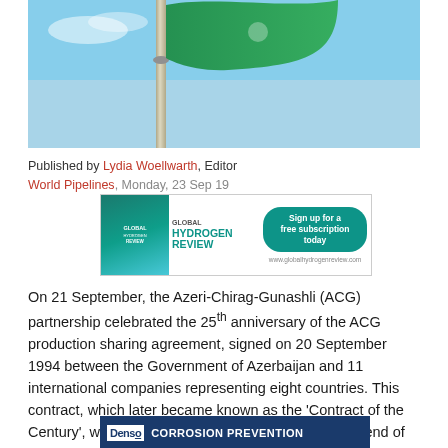[Figure (photo): Flag on a tall flagpole against a blue sky background, green flag waving.]
Published by Lydia Woellwarth, Editor
World Pipelines, Monday, 23 Sep 19
[Figure (other): Advertisement for Global Hydrogen Review — Sign up for a free subscription today. www.globalhydrogenreview.com]
On 21 September, the Azeri-Chirag-Gunashli (ACG) partnership celebrated the 25th anniversary of the ACG production sharing agreement, signed on 20 September 1994 between the Government of Azerbaijan and 11 international companies representing eight countries. This contract, which later became known as the 'Contract of the Century', was extended in September 2017 until the end of 2049.
[Figure (other): Advertisement for Densō Corrosion Prevention]